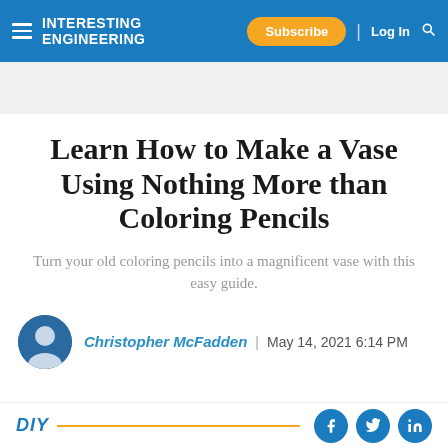Interesting Engineering | Subscribe | Log In
Learn How to Make a Vase Using Nothing More than Coloring Pencils
Turn your old coloring pencils into a magnificent vase with this easy guide.
Christopher McFadden | May 14, 2021 6:14 PM
DIY